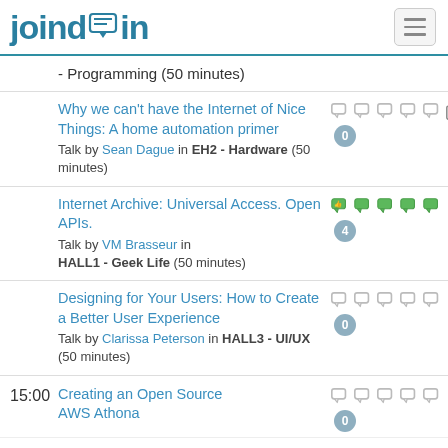joindin
- Programming (50 minutes)
Why we can't have the Internet of Nice Things: A home automation primer
Talk by Sean Dague in EH2 - Hardware (50 minutes)
Rating: 0
Internet Archive: Universal Access. Open APIs.
Talk by VM Brasseur in HALL1 - Geek Life (50 minutes)
Rating: 4
Designing for Your Users: How to Create a Better User Experience
Talk by Clarissa Peterson in HALL3 - UI/UX (50 minutes)
Rating: 0
15:00 Creating an Open Source AWS Athona
Rating: 0